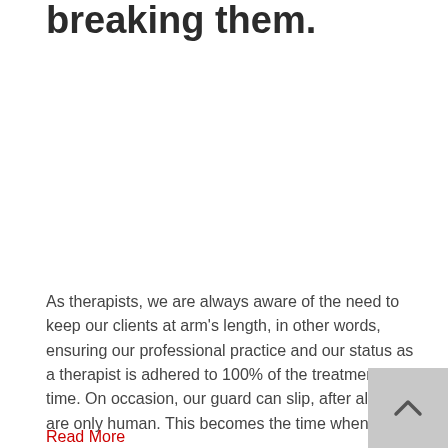breaking them.
As therapists, we are always aware of the need to keep our clients at arm's length, in other words, ensuring our professional practice and our status as a therapist is adhered to 100% of the treatment time. On occasion, our guard can slip, after all, we are only human. This becomes the time when we…
Read More